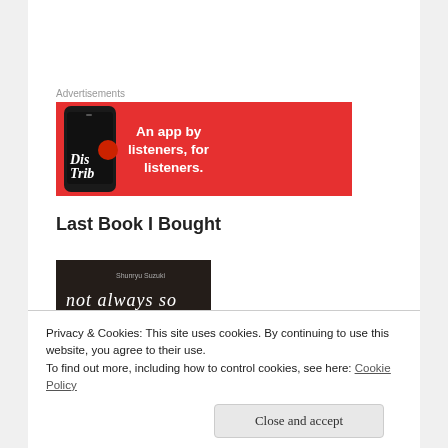Advertisements
[Figure (illustration): Red advertisement banner for a music/podcast app. Shows a smartphone displaying 'DisTrib' on its screen, with bold white text reading 'An app by listeners, for listeners.' on a red background.]
Last Book I Bought
[Figure (photo): Book cover showing dark background with italic white text 'not always so' — partially cut off at bottom.]
Privacy & Cookies: This site uses cookies. By continuing to use this website, you agree to their use.
To find out more, including how to control cookies, see here: Cookie Policy
Close and accept
[Figure (photo): Partial photo of a person's face, visible at the bottom of the page.]